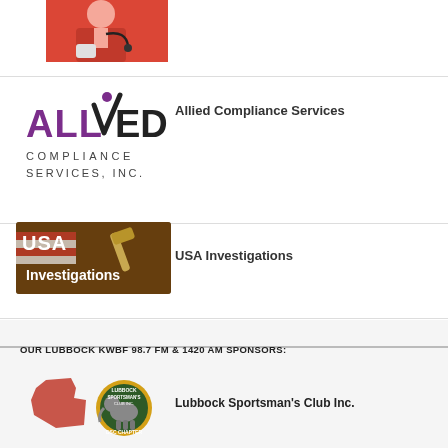[Figure (photo): Photo of a person in red medical scrubs with stethoscope]
[Figure (logo): Allied Compliance Services Inc. logo with purple and black lettering and checkmark]
Allied Compliance Services
[Figure (logo): USA Investigations logo with American flag and gavel imagery on dark background]
USA Investigations
OUR LUBBOCK KWBF 98.7 FM & 1420 AM SPONSORS:
[Figure (logo): Lubbock Sportsman's Club Inc. logo with Texas map, DSC Chapter badge and elephant]
Lubbock Sportsman's Club Inc.